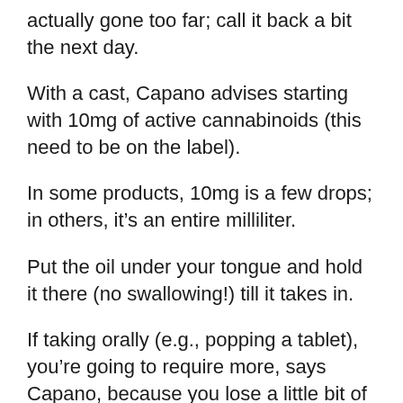actually gone too far; call it back a bit the next day.
With a cast, Capano advises starting with 10mg of active cannabinoids (this need to be on the label).
In some products, 10mg is a few drops; in others, it’s an entire milliliter.
Put the oil under your tongue and hold it there (no swallowing!) till it takes in.
If taking orally (e.g., popping a tablet), you’re going to require more, says Capano, because you lose a little bit of the active components to something called first-pass-metabolism by the liver.